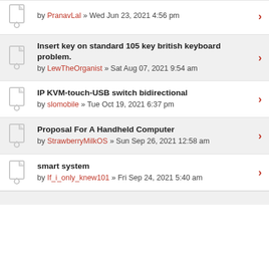by PranavLal » Wed Jun 23, 2021 4:56 pm
Insert key on standard 105 key british keyboard problem. by LewTheOrganist » Sat Aug 07, 2021 9:54 am
IP KVM-touch-USB switch bidirectional by slomobile » Tue Oct 19, 2021 6:37 pm
Proposal For A Handheld Computer by StrawberryMilkOS » Sun Sep 26, 2021 12:58 am
smart system by If_i_only_knew101 » Fri Sep 24, 2021 5:40 am